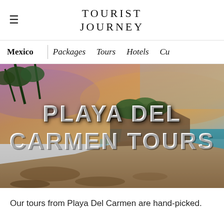TOURIST JOURNEY
Mexico | Packages   Tours   Hotels   Cu
[Figure (photo): Aerial/wide-angle scenic photo of Playa Del Carmen beach at sunset: turquoise Caribbean sea on the right, sandy beach with seaweed in foreground, rocky cliff with tropical vegetation in background, colorful sunset sky with purple, orange and pink hues. White large-text overlay reads: PLAYA DEL CARMEN TOURS]
Our tours from Playa Del Carmen are hand-picked.